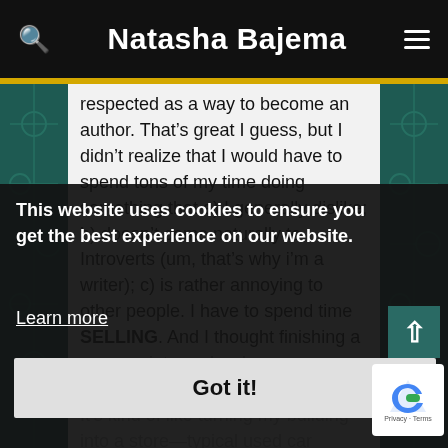Natasha Bajema
respected as a way to become an author. That’s great I guess, but I didn’t realize that I would have to spend tons of my time doing something that a) I generally dislike; b) doesn’t come naturally to Introverts (um, that’s why i’m a writer); c) is rather annoying to other people. I have to spend time SELLING. And I thought finishing a manuscript was hard
It’s kind of like turning my building into a store—typical used car salesman (or saleswoman in my case). Cue groans and eye rolling. So now my website is a used car dealership and my blog is a used car i’m trying to foist on unsuspecting buyers (just kidding).
When I started this blog, I had foolishly
This website uses cookies to ensure you get the best experience on our website.
Learn more
Got it!